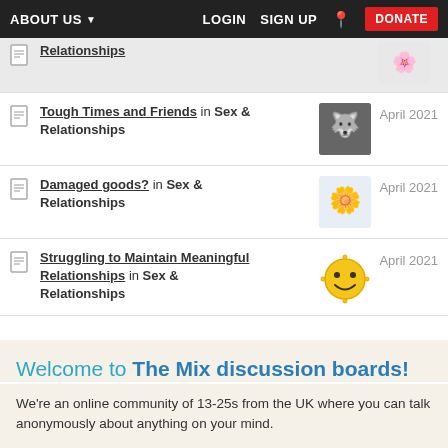ABOUT US  LOGIN  SIGN UP  DONATE
Relationships in Sex & Relationships — April 2021
Tough Times and Friends in Sex & Relationships — April 2021
Damaged goods? in Sex & Relationships — April 2021
Struggling to Maintain Meaningful Relationships in Sex & Relationships — April 2021
Welcome to The Mix discussion boards!
We're an online community of 13-25s from the UK where you can talk anonymously about anything on your mind.